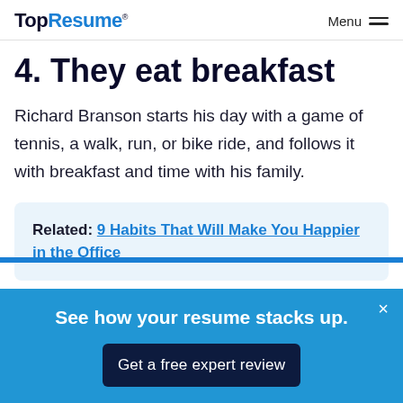TopResume® Menu
4. They eat breakfast
Richard Branson starts his day with a game of tennis, a walk, run, or bike ride, and follows it with breakfast and time with his family.
Related: 9 Habits That Will Make You Happier in the Office
See how your resume stacks up. Get a free expert review